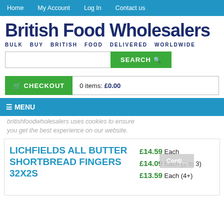Home | My Account | Log In | Contact us
British Food Wholesalers
BULK BUY BRITISH FOOD DELIVERED WORLDWIDE
SEARCH
CHECKOUT  0 items: £0.00
≡ MENU
britishfoodwholesalers uses cookies to ensure you get the best experience on our website.
LICHFIELDS ALL BUTTER SHORTBREAD FINGERS 32X2S
£14.59 Each
£14.09 Each (2 to 3)
£13.59 Each (4+)